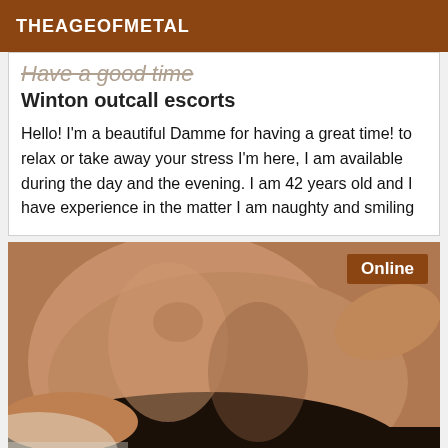THEAGEOFMETAL
Have a good time
Winton outcall escorts
Hello! I'm a beautiful Damme for having a great time! to relax or take away your stress I'm here, I am available during the day and the evening. I am 42 years old and I have experience in the matter I am naughty and smiling
[Figure (photo): Close-up photo of a person's torso, with an 'Online' badge in the top right corner on a brown background.]